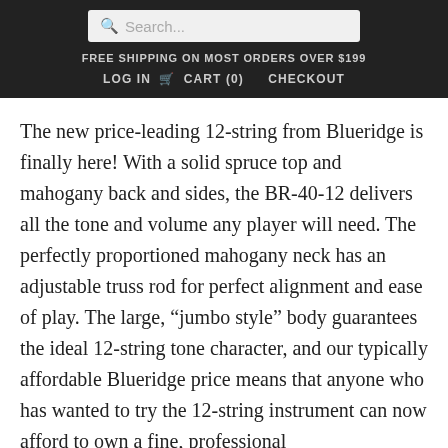Search... | FREE SHIPPING ON MOST ORDERS OVER $199 | LOG IN  CART (0)  CHECKOUT
The new price-leading 12-string from Blueridge is finally here! With a solid spruce top and mahogany back and sides, the BR-40-12 delivers all the tone and volume any player will need. The perfectly proportioned mahogany neck has an adjustable truss rod for perfect alignment and ease of play. The large, “jumbo style” body guarantees the ideal 12-string tone character, and our typically affordable Blueridge price means that anyone who has wanted to try the 12-string instrument can now afford to own a fine, professional